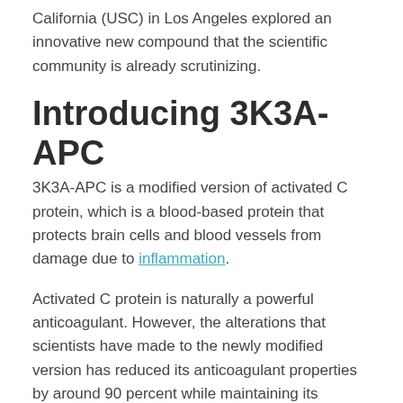California (USC) in Los Angeles explored an innovative new compound that the scientific community is already scrutinizing.
Introducing 3K3A-APC
3K3A-APC is a modified version of activated C protein, which is a blood-based protein that protects brain cells and blood vessels from damage due to inflammation.
Activated C protein is naturally a powerful anticoagulant. However, the alterations that scientists have made to the newly modified version has reduced its anticoagulant properties by around 90 percent while maintaining its protective benefits.
Researchers have already tested 3K3A-APC in animal models of multiple sclerosis, amyotrophic lateral sclerosis,